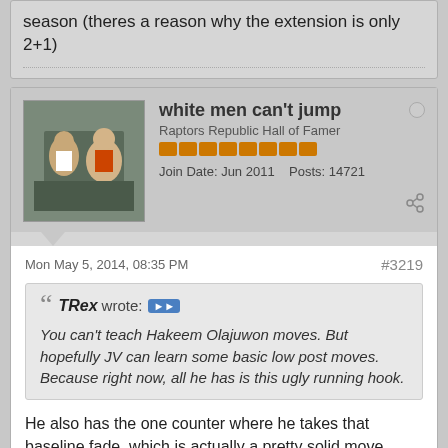season (theres a reason why the extension is only 2+1)
white men can't jump
Raptors Republic Hall of Famer
Join Date: Jun 2011  Posts: 14721
Mon May 5, 2014, 08:35 PM
#3219
TRex wrote: You can't teach Hakeem Olajuwon moves. But hopefully JV can learn some basic low post moves. Because right now, all he has is this ugly running hook.
He also has the one counter where he takes that baseline fade, which is actually a pretty solid move.
Puffer